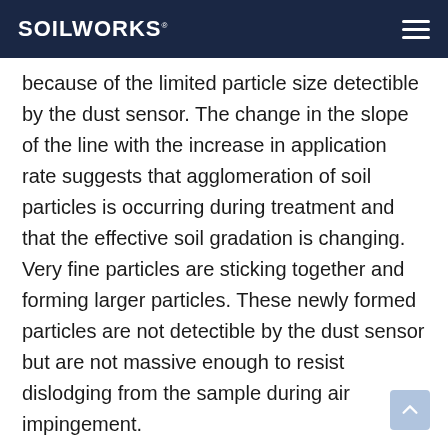SOILWORKS
because of the limited particle size detectable by the dust sensor. The change in the slope of the line with the increase in application rate suggests that agglomeration of soil particles is occurring during treatment and that the effective soil gradation is changing. Very fine particles are sticking together and forming larger particles. These newly formed particles are not detectible by the dust sensor but are not massive enough to resist dislodging from the sample during air impingement.
Effect of traffic simulation test